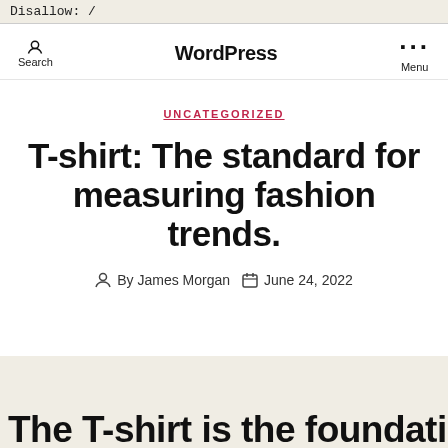Disallow: /
WordPress | Search | Menu
UNCATEGORIZED
T-shirt: The standard for measuring fashion trends.
By James Morgan  June 24, 2022
The T-shirt is the foundation